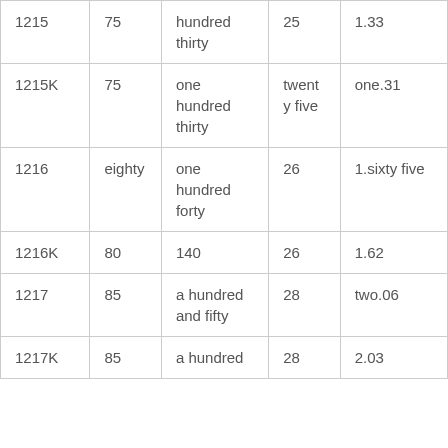| 1215 | 75 | hundred thirty | 25 | 1.33 |
| 1215K | 75 | one hundred thirty | twenty five | one.31 |
| 1216 | eighty | one hundred forty | 26 | 1.sixty five |
| 1216K | 80 | 140 | 26 | 1.62 |
| 1217 | 85 | a hundred and fifty | 28 | two.06 |
| 1217K | 85 | a hundred | 28 | 2.03 |